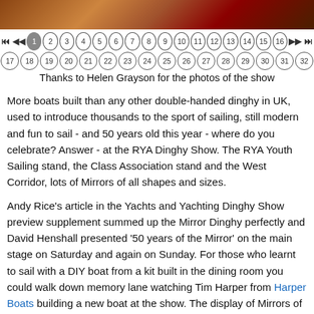[Figure (photo): Dark brown/orange photo banner at the top of the page]
⏮ ◀◀ 1 2 3 4 5 6 7 8 9 10 11 12 13 14 15 16 ▶▶ ⏭ 17 18 19 20 21 22 23 24 25 26 27 28 29 30 31 32
Thanks to Helen Grayson for the photos of the show
More boats built than any other double-handed dinghy in UK, used to introduce thousands to the sport of sailing, still modern and fun to sail - and 50 years old this year - where do you celebrate? Answer - at the RYA Dinghy Show. The RYA Youth Sailing stand, the Class Association stand and the West Corridor, lots of Mirrors of all shapes and sizes.
Andy Rice's article in the Yachts and Yachting Dinghy Show preview supplement summed up the Mirror Dinghy perfectly and David Henshall presented '50 years of the Mirror' on the main stage on Saturday and again on Sunday. For those who learnt to sail with a DIY boat from a kit built in the dining room you could walk down memory lane watching Tim Harper from Harper Boats building a new boat at the show. The display of Mirrors of all ages in the West Corridor presented the broad range of